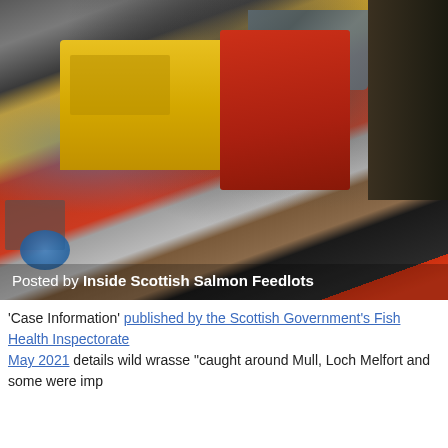[Figure (photo): Photograph of fishing/aquaculture equipment including a yellow machine, red containers, and a pile of fish (wrasse), with a blue object visible in the lower left. Text overlay reads 'Posted by Inside Scottish Salmon Feedlots'.]
Posted by Inside Scottish Salmon Feedlots
'Case Information' published by the Scottish Government's Fish Health Inspectorate May 2021 details wild wrasse "caught around Mull, Loch Melfort and some were imp...